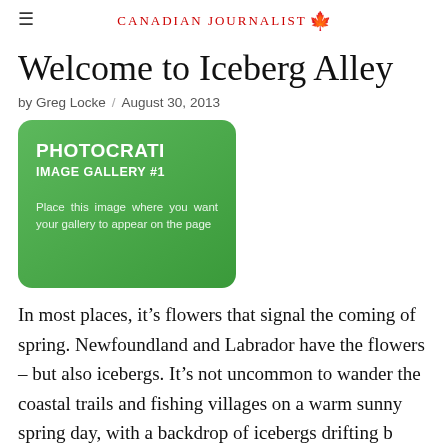CANADIAN JOURNALIST
Welcome to Iceberg Alley
by Greg Locke   August 30, 2013
[Figure (other): Photocrati Image Gallery #1 placeholder. Green rounded rectangle with text: PHOTOCRATI IMAGE GALLERY #1. Place this image where you want your gallery to appear on the page.]
In most places, it’s flowers that signal the coming of spring. Newfoundland and Labrador have the flowers – but also icebergs. It’s not uncommon to wander the coastal trails and fishing villages on a warm sunny spring day, with a backdrop of icebergs drifting b